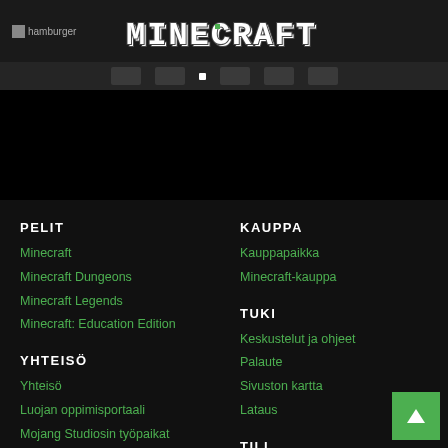hamburger | MINECRAFT
PELIT
Minecraft
Minecraft Dungeons
Minecraft Legends
Minecraft: Education Edition
YHTEISÖ
Yhteisö
Luojan oppimisportaali
Mojang Studiosin työpaikat
KAUPPA
Kauppapaikka
Minecraft-kauppa
TUKI
Keskustelut ja ohjeet
Palaute
Sivuston kartta
Lataus
TILI
Profiili